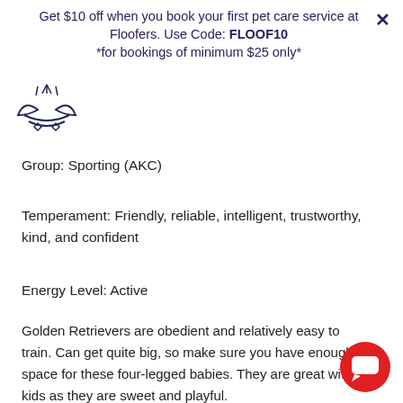Get $10 off when you book your first pet care service at Floofers. Use Code: FLOOF10 *for bookings of minimum $25 only*
[Figure (logo): Floofers logo — stylized sleeping dog face icon with sunburst rays]
Group: Sporting (AKC)
Temperament: Friendly, reliable, intelligent, trustworthy, kind, and confident
Energy Level: Active
Golden Retrievers are obedient and relatively easy to train. Can get quite big, so make sure you have enough space for these four-legged babies. They are great with kids as they are sweet and playful.